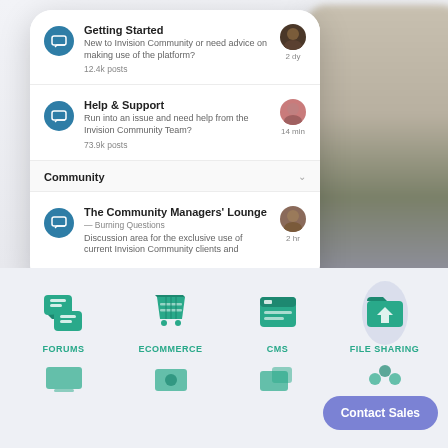[Figure (screenshot): Mobile app screenshot showing a community forum interface with Getting Started and Help & Support sections, and a Community section with The Community Managers' Lounge. A second blurred phone is visible on the right side.]
FORUMS
ECOMMERCE
CMS
FILE SHARING
Contact Sales